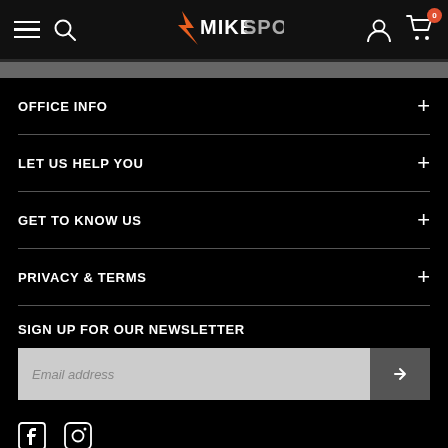MikeSport navigation header with hamburger, search, logo, account and cart icons
OFFICE INFO
LET US HELP YOU
GET TO KNOW US
PRIVACY & TERMS
SIGN UP FOR OUR NEWSLETTER
Email address
[Figure (logo): Facebook and Instagram social media icons]